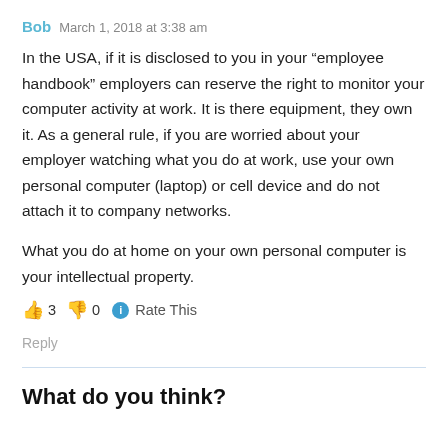Bob   March 1, 2018 at 3:38 am
In the USA, if it is disclosed to you in your “employee handbook” employers can reserve the right to monitor your computer activity at work. It is there equipment, they own it. As a general rule, if you are worried about your employer watching what you do at work, use your own personal computer (laptop) or cell device and do not attach it to company networks.
What you do at home on your own personal computer is your intellectual property.
👍 3 👎 0 ℹ Rate This
Reply
What do you think?